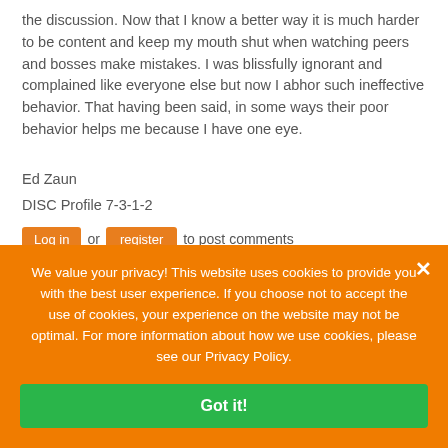the discussion. Now that I know a better way it is much harder to be content and keep my mouth shut when watching peers and bosses make mistakes. I was blissfully ignorant and complained like everyone else but now I abhor such ineffective behavior. That having been said, in some ways their poor behavior helps me because I have one eye.
Ed Zaun
DISC Profile 7-3-1-2
Log in or register to post comments
We value your privacy! This website uses cookies to provide you with the best user experience. If you choose not to accept the use of cookies, your experience on the website may not be optimal. For more information about how we use cookies, please see our Privacy Policy.
Got it!